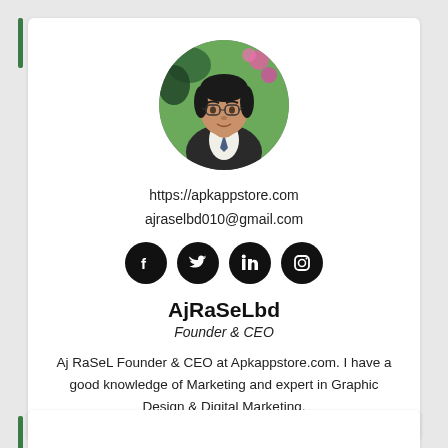[Figure (photo): Circular profile photo of a young man wearing glasses and a dark jacket, with green foliage in background]
https://apkappstore.com
ajraselbd010@gmail.com
[Figure (illustration): Four social media icons: Facebook, Twitter, LinkedIn, Instagram — black circles with white icons]
AjRaSeLbd
Founder & CEO
Aj RaSeL Founder & CEO at Apkappstore.com. I have a good knowledge of Marketing and expert in Graphic Design & Digital Marketing.